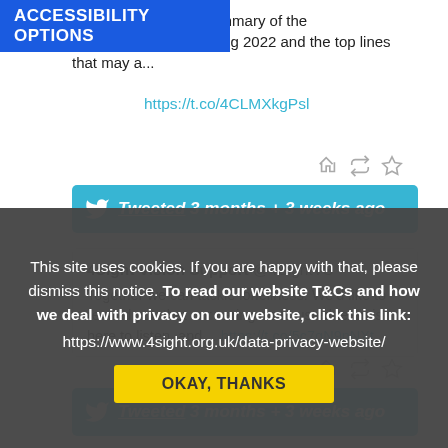ACCESSIBILITY OPTIONS
or creating a useful summary of the #QueensSpeech Briefing 2022 and the top lines that may a...
https://t.co/4CLMXkgPsl
Tweeted 3 months + 3 weeks ago
4Sight Vision Support @4SightVS
Together we can tackle loneliness. We'd like to remind you that our caring and trusted team is here to listen, and... https://t.co/5c7qN9nNXt
Tweeted 3 months + 3 weeks ago
This site uses cookies. If you are happy with that, please dismiss this notice. To read our website T&Cs and how we deal with privacy on our website, click this link:

https://www.4sight.org.uk/data-privacy-website/
OKAY, THANKS